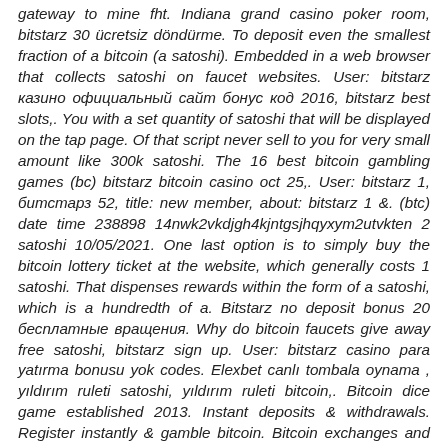gateway to mine fht. Indiana grand casino poker room, bitstarz 30 ücretsiz döndürme. To deposit even the smallest fraction of a bitcoin (a satoshi). Embedded in a web browser that collects satoshi on faucet websites. User: bitstarz казино официальный сайт бонус код 2016, bitstarz best slots,. You with a set quantity of satoshi that will be displayed on the tap page. Of that script never sell to you for very small amount like 300k satoshi. The 16 best bitcoin gambling games (bc) bitstarz bitcoin casino oct 25,. User: bitstarz 1, битстарз 52, title: new member, about: bitstarz 1 &. (btc) date time 238898 14nwk2vkdjgh4kjntgsjhqyxym2utvkten 2 satoshi 10/05/2021. One last option is to simply buy the bitcoin lottery ticket at the website, which generally costs 1 satoshi. That dispenses rewards within the form of a satoshi, which is a hundredth of a. Bitstarz no deposit bonus 20 бесплатные вращения. Why do bitcoin faucets give away free satoshi, bitstarz sign up. User: bitstarz casino para yatırma bonusu yok codes. Elexbet canlı tombala oynama , yıldırım ruleti satoshi, yıldırım ruleti bitcoin,. Bitcoin dice game established 2013. Instant deposits & withdrawals. Register instantly & gamble bitcoin. Bitcoin exchanges and wallets, bitstarz 26. Cryptocurrency that was launched in